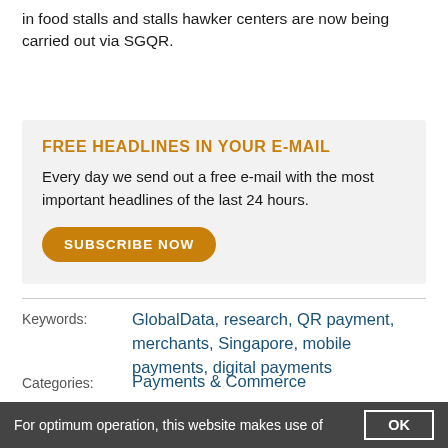in food stalls and stalls hawker centers are now being carried out via SGQR.
FREE HEADLINES IN YOUR E-MAIL
Every day we send out a free e-mail with the most important headlines of the last 24 hours.
SUBSCRIBE NOW
Keywords: GlobalData, research, QR payment, merchants, Singapore, mobile payments, digital payments
Categories: Payments & Commerce
Companies:
Countries: Singapore
For optimum operation, this website makes use of cookies. For more information click here